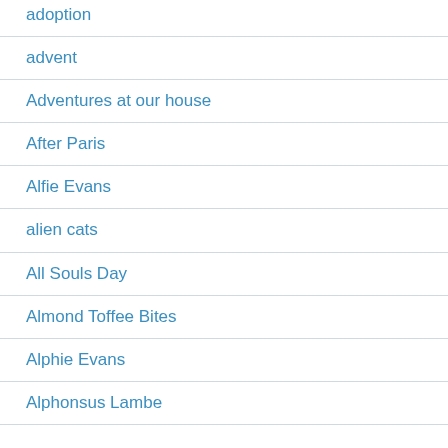adoption
advent
Adventures at our house
After Paris
Alfie Evans
alien cats
All Souls Day
Almond Toffee Bites
Alphie Evans
Alphonsus Lambe